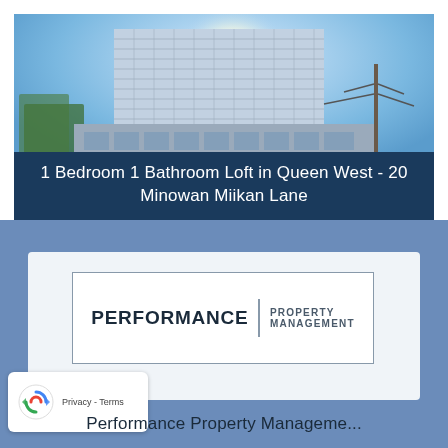[Figure (photo): Exterior photo of a modern high-rise condominium building with glass facade, blue sky with bright sun, trees on the left, utility poles on the right.]
1 Bedroom 1 Bathroom Loft in Queen West  - 20 Minowan Miikan Lane
[Figure (logo): Performance Property Management logo inside a rectangular border. Left side: PERFORMANCE in bold dark letters. Vertical divider line. Right side: PROPERTY MANAGEMENT in smaller spaced letters.]
[Figure (other): Google reCAPTCHA badge showing the reCAPTCHA icon (circular arrows) and Privacy - Terms text.]
Performance Property Manageme...